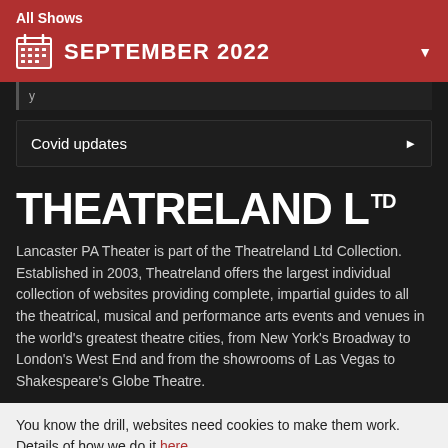All Shows
SEPTEMBER 2022
Covid updates
THEATRELAND LTD
Lancaster PA Theater is part of the Theatreland Ltd Collection. Established in 2003, Theatreland offers the largest individual collection of websites providing complete, impartial guides to all the theatrical, musical and performance arts events and venues in the world's greatest theatre cities, from New York's Broadway to London's West End and from the showrooms of Las Vegas to Shakespeare's Globe Theatre.
You know the drill, websites need cookies to make them work. Details of how we do it here.
Got it!